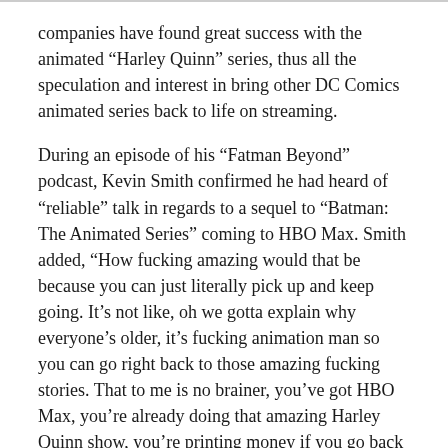companies have found great success with the animated “Harley Quinn” series, thus all the speculation and interest in bring other DC Comics animated series back to life on streaming.
During an episode of his “Fatman Beyond” podcast, Kevin Smith confirmed he had heard of “reliable” talk in regards to a sequel to “Batman: The Animated Series” coming to HBO Max. Smith added, “How fucking amazing would that be because you can just literally pick up and keep going. It’s not like, oh we gotta explain why everyone’s older, it’s fucking animation man so you can go right back to those amazing fucking stories. That to me is no brainer, you’ve got HBO Max, you’re already doing that amazing Harley Quinn show, you’re printing money if you go back and do ‘Batman: The Animated Series.’ You can’t fuck up the legacy, that’s for damn sure.”